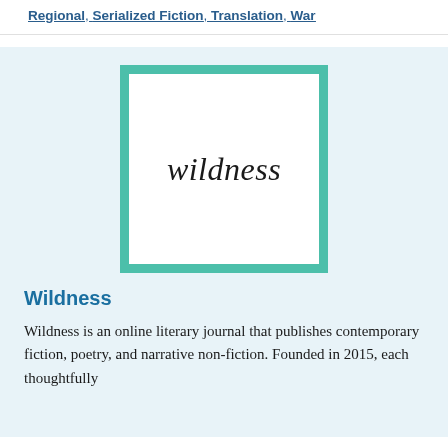Regional, Serialized Fiction, Translation, War
[Figure (logo): Wildness literary journal logo: teal/green square border with white interior and the word 'wildness' in italic serif font centered inside]
Wildness
Wildness is an online literary journal that publishes contemporary fiction, poetry, and narrative non-fiction. Founded in 2015, each thoughtfully